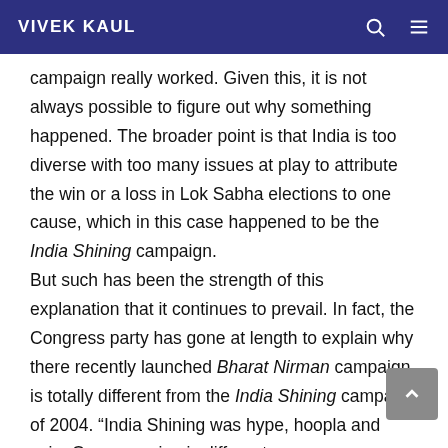VIVEK KAUL
campaign really worked. Given this, it is not always possible to figure out why something happened. The broader point is that India is too diverse with too many issues at play to attribute the win or a loss in Lok Sabha elections to one cause, which in this case happened to be the India Shining campaign. But such has been the strength of this explanation that it continues to prevail. In fact, the Congress party has gone at length to explain why there recently launched Bharat Nirman campaign is totally different from the India Shining campaign of 2004. “India Shining was hype, hoopla and spin. Our campaign is different.